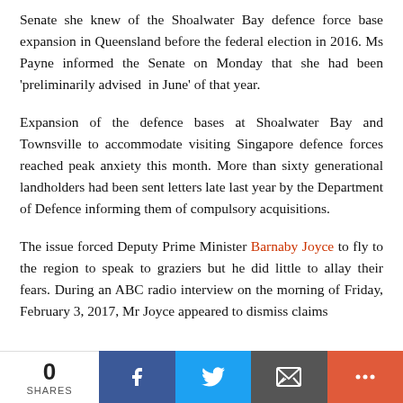Senate she knew of the Shoalwater Bay defence force base expansion in Queensland before the federal election in 2016. Ms Payne informed the Senate on Monday that she had been 'preliminarily advised in June' of that year.
Expansion of the defence bases at Shoalwater Bay and Townsville to accommodate visiting Singapore defence forces reached peak anxiety this month. More than sixty generational landholders had been sent letters late last year by the Department of Defence informing them of compulsory acquisitions.
The issue forced Deputy Prime Minister Barnaby Joyce to fly to the region to speak to graziers but he did little to allay their fears. During an ABC radio interview on the morning of Friday, February 3, 2017, Mr Joyce appeared to dismiss claims
0 SHARES | Facebook | Twitter | Email | More